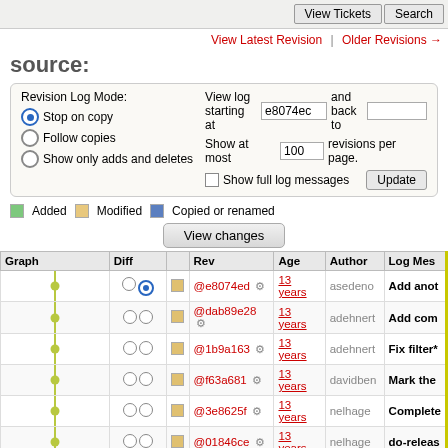View Tickets | Search
View Latest Revision | Older Revisions →
source:
Revision Log Mode: Stop on copy / Follow copies / Show only adds and deletes. View log starting at e8074ec and back to. Show at most 100 revisions per page. Show full log messages. Update.
Added   Modified   Copied or renamed
View changes
| Graph | Diff |  | Rev | Age | Author | Log Mes |
| --- | --- | --- | --- | --- | --- | --- |
| (graph) | ○ ● | □ | @e8074ed ⚙ | 13 years | asedeno | Add anot |
| (graph) | ○ ○ | □ | @dab89e28 ⚙ | 13 years | adehnert | Add com |
| (graph) | ○ ○ | □ | @1b9a163 ⚙ | 13 years | adehnert | Fix filter* |
| (graph) | ○ ○ | □ | @f63a681 ⚙ | 13 years | davidben | Mark the |
| (graph) | ○ ○ | □ | @3e8625f ⚙ | 13 years | nelhage | Complete |
| (graph) | ○ ○ | □ | @01846ce ⚙ | 13 years | nelhage | do-releas |
| (graph) | ○ ○ | □ | @8df7o4f ⚙ | 13 years | nelhage | Take the |
| (graph) | ○ ○ | □ | @6c81223 ⚙ | 13 years | asedeno | Fix _follo |
| (graph) | ○ ○ | □ | @96c3265 ⚙ | 13 years | kcr | Tighten u |